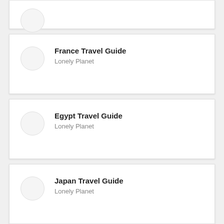(partial card, top)
France Travel Guide
Lonely Planet
Egypt Travel Guide
Lonely Planet
Japan Travel Guide
Lonely Planet
Greek Islands Travel Guide
Lonely Planet